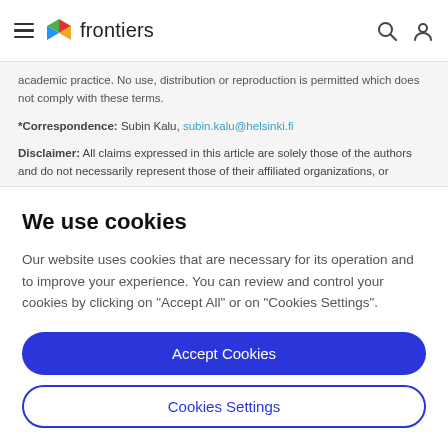frontiers
academic practice. No use, distribution or reproduction is permitted which does not comply with these terms.
*Correspondence: Subin Kalu, subin.kalu@helsinki.fi
Disclaimer: All claims expressed in this article are solely those of the authors and do not necessarily represent those of their affiliated organizations, or
We use cookies
Our website uses cookies that are necessary for its operation and to improve your experience. You can review and control your cookies by clicking on "Accept All" or on "Cookies Settings".
Accept Cookies
Cookies Settings